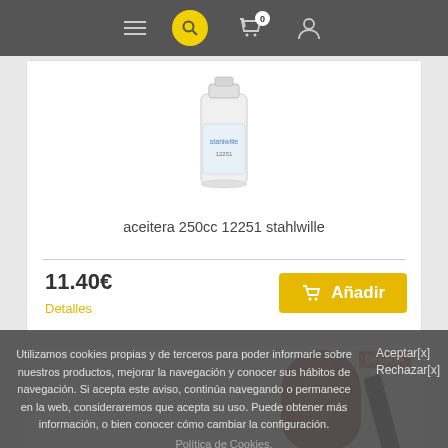Navigation bar with hamburger menu, search, cart (0), user icon
[Figure (photo): Product image of aceitera 250cc 12251 stahlwille - a cylindrical oil can/container with white/transparent body]
aceitera 250cc 12251 stahlwille
11.40€
Detalles
Añadir
[Figure (photo): Partially visible second product card with a dark/red product image below]
Utilizamos cookies propias y de terceros para poder informarle sobre nuestros productos, mejorar la navegación y conocer sus hábitos de navegación. Si acepta este aviso, continúa navegando o permanece en la web, consideraremos que acepta su uso. Puede obtener más información, o bien conocer cómo cambiar la configuración.
Aceptar[x]
Rechazar[x]
Política de Cookies.